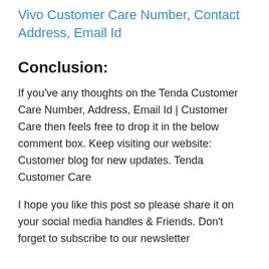Vivo Customer Care Number, Contact Address, Email Id
Conclusion:
If you've any thoughts on the Tenda Customer Care Number, Address, Email Id | Customer Care then feels free to drop it in the below comment box. Keep visiting our website: Customer blog for new updates. Tenda Customer Care
I hope you like this post so please share it on your social media handles & Friends. Don't forget to subscribe to our newsletter